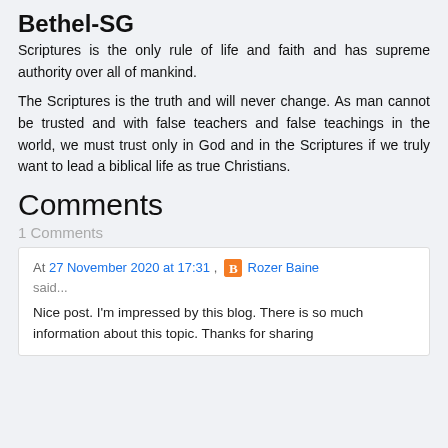Bethel-SG
Scriptures is the only rule of life and faith and has supreme authority over all of mankind.
The Scriptures is the truth and will never change. As man cannot be trusted and with false teachers and false teachings in the world, we must trust only in God and in the Scriptures if we truly want to lead a biblical life as true Christians.
Comments
1 Comments
At 27 November 2020 at 17:31 , [Blogger icon] Rozer Baine said...
Nice post. I'm impressed by this blog. There is so much information about this topic. Thanks for sharing